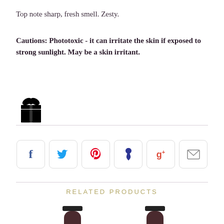Top note sharp, fresh smell. Zesty.
Cautions: Phototoxic - it can irritate the skin if exposed to strong sunlight. May be a skin irritant.
[Figure (illustration): Gift box icon (black silhouette with bow and ribbon)]
[Figure (infographic): Row of social sharing buttons: Facebook (f), Twitter (bird), Pinterest (p), Pinboard/Fancy (pin drop), Google+ (g+), Email (envelope)]
RELATED PRODUCTS
[Figure (photo): Dark brown essential oil bottle (left product thumbnail) with upward arrow icon below]
[Figure (photo): Dark brown essential oil bottle (right product thumbnail) with upward arrow icon below]